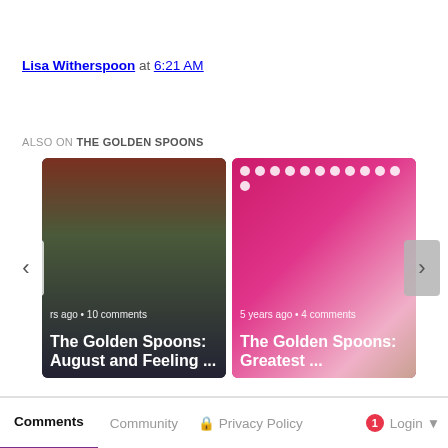Lisa Witherspoon at 6:21 AM
ALSO ON THE GOLDEN SPOONS
[Figure (screenshot): Carousel showing two blog post cards: left card shows photo of two people in front of a red wall with a triangle logo, titled 'The Golden Spoons: August and Feeling ...' with '...rs ago • 10 comments'; right card shows pink/magenta background with hands, titled 'The Golden Spoons: Greatest ...' with '5 years ago • 4 comments'. Navigation arrows on sides.]
Comments  Community  Privacy Policy  1  Login